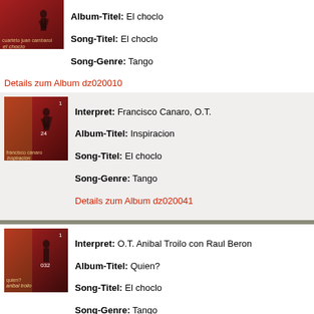Album-Titel: El choclo
Song-Titel: El choclo
Song-Genre: Tango
Details zum Album dz020010
Interpret: Francisco Canaro, O.T.
Album-Titel: Inspiracion
Song-Titel: El choclo
Song-Genre: Tango
Details zum Album dz020041
Interpret: O.T. Anibal Troilo con Raul Beron
Album-Titel: Quien?
Song-Titel: El choclo
Song-Genre: Tango
Details zum Album dz020059
Interpret: Tita Merello con la O.T. Francisco Canaro
Album-Titel: Pipistrela
Song-Titel: El choclo
Song-Genre: Tango
Details zum Album dz020086
Interpret: Carlos di Sarli
Album-Titel: Duelo Criollo